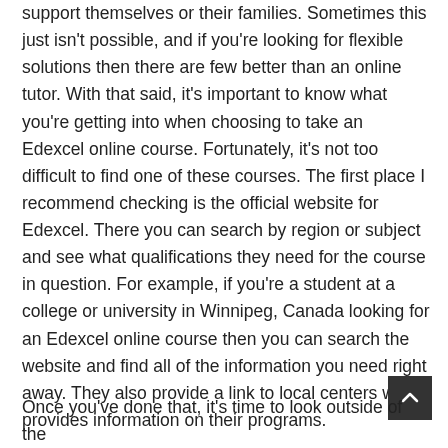support themselves or their families. Sometimes this just isn't possible, and if you're looking for flexible solutions then there are few better than an online tutor. With that said, it's important to know what you're getting into when choosing to take an Edexcel online course. Fortunately, it's not too difficult to find one of these courses. The first place I recommend checking is the official website for Edexcel. There you can search by region or subject and see what qualifications they need for the course in question. For example, if you're a student at a college or university in Winnipeg, Canada looking for an Edexcel online course then you can search the website and find all of the information you need right away. They also provide a link to local centers which provides information on their programs.
Once you've done that, it's time to look outside of the